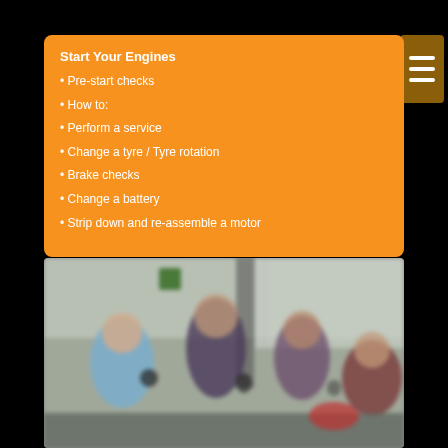Start Your Engines
• Pre-start checks
• How to:
• Perform a service
• Change a tyre / Tyre rotation
• Brake checks
• Change a battery
• Strip down and re-assemble a motor
[Figure (photo): Students in a garage/workshop setting, holding tools, with a blurred background of a workshop interior.]